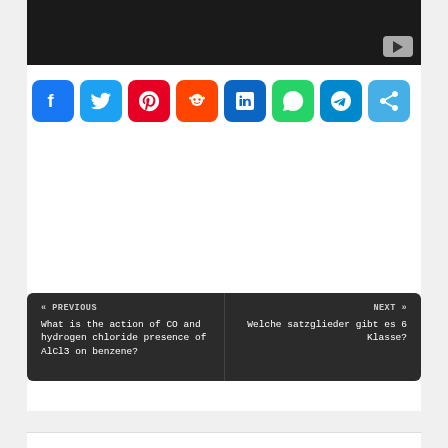[Figure (screenshot): Dark video thumbnail with YouTube play button in bottom-right corner]
[Figure (infographic): Row of social sharing icons: Facebook, Twitter, Pinterest, Reddit, LinkedIn, WhatsApp, Telegram, Share]
« PREVIOUS
What is the action of CO and hydrogen chloride presence of AlCl3 on benzene?
NEXT »
Welche satzglieder gibt es 6 Klasse?